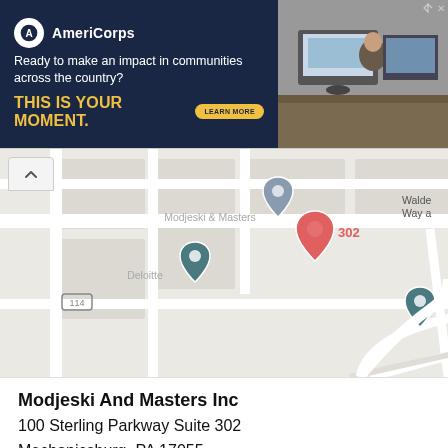[Figure (infographic): AmeriCorps advertisement banner with dark navy background. Logo circle with 'A', brand name 'AmeriCorps', tagline 'Ready to make an impact in communities across the country?', yellow bold headline 'THIS IS YOUR MOMENT.', yellow 'LEARN MORE' button. Right side shows photo of people at computers.]
[Figure (map): Google Maps screenshot showing street map near Mechanicsburg, PA. Map pins visible for Modjeski & Masters (gray), a red numbered pin '302', Avantra Family Wealth (gray), Deloitte (dark teal), and Walde Way location (dark teal). Road labels include Fawn Leap Wy, Old Farm Ln, Line Rd. Route 114 shield visible. White back/collapse button in top-left corner.]
Modjeski And Masters Inc
100 Sterling Parkway Suite 302
Mechanicsburg, PA 17055
Business Industry:
All Other Business Support Services